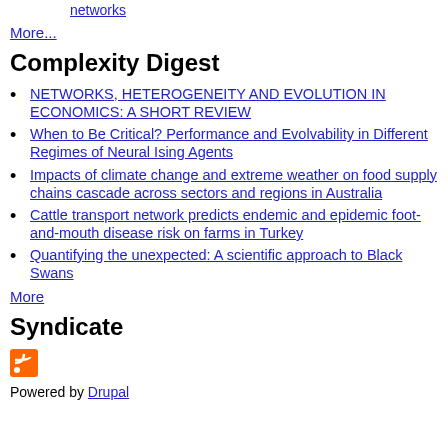networks
More...
Complexity Digest
NETWORKS, HETEROGENEITY AND EVOLUTION IN ECONOMICS: A SHORT REVIEW
When to Be Critical? Performance and Evolvability in Different Regimes of Neural Ising Agents
Impacts of climate change and extreme weather on food supply chains cascade across sectors and regions in Australia
Cattle transport network predicts endemic and epidemic foot-and-mouth disease risk on farms in Turkey
Quantifying the unexpected: A scientific approach to Black Swans
More
Syndicate
[Figure (logo): RSS feed icon - orange square with white RSS symbol]
Powered by Drupal